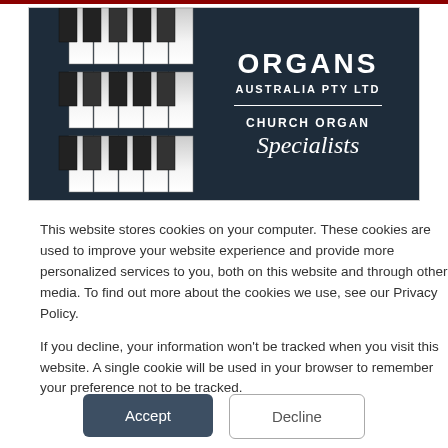[Figure (logo): Organs Australia Pty Ltd logo with piano keyboard image on left and dark navy background with text 'ORGANS AUSTRALIA PTY LTD' and 'CHURCH ORGAN Specialists' on right]
This website stores cookies on your computer. These cookies are used to improve your website experience and provide more personalized services to you, both on this website and through other media. To find out more about the cookies we use, see our Privacy Policy.
If you decline, your information won't be tracked when you visit this website. A single cookie will be used in your browser to remember your preference not to be tracked.
Accept
Decline